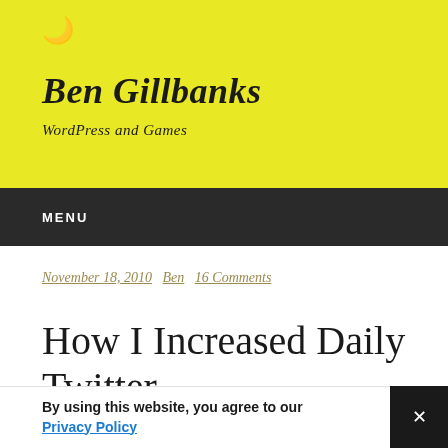Ben Gillbanks
WordPress and Games
MENU
November 18, 2010  Ben  16 Comments
How I Increased Daily Twitter
By using this website, you agree to our Privacy Policy